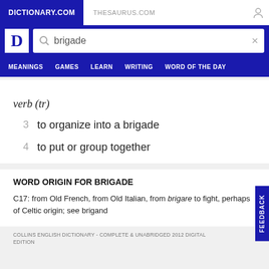DICTIONARY.COM | THESAURUS.COM
[Figure (screenshot): Dictionary.com logo and search bar with 'brigade' query]
MEANINGS   GAMES   LEARN   WRITING   WORD OF THE DAY
verb (tr)
3  to organize into a brigade
4  to put or group together
WORD ORIGIN FOR BRIGADE
C17: from Old French, from Old Italian, from brigare to fight, perhaps of Celtic origin; see brigand
COLLINS ENGLISH DICTIONARY - COMPLETE & UNABRIDGED 2012 DIGITAL EDITION